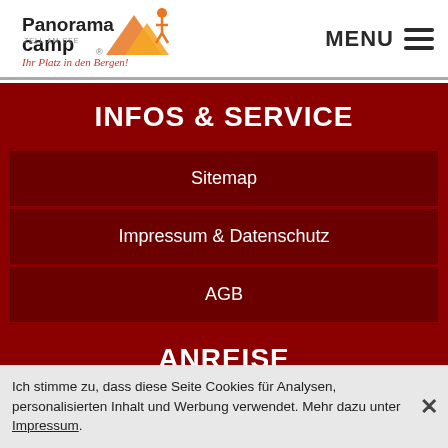[Figure (logo): Panorama Camp Zell am See logo with orange/yellow mountain icon and red cursive tagline 'Ihr Platz in den Bergen!']
[Figure (infographic): MENU hamburger icon with three horizontal bars]
INFOS & SERVICE
Sitemap
Impressum & Datenschutz
AGB
ANREISE
Ich stimme zu, dass diese Seite Cookies für Analysen, personalisierten Inhalt und Werbung verwendet. Mehr dazu unter Impressum.